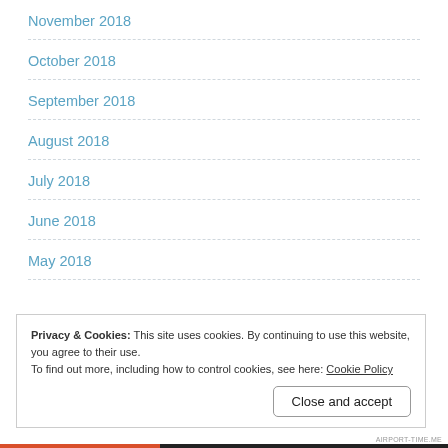November 2018
October 2018
September 2018
August 2018
July 2018
June 2018
May 2018
Privacy & Cookies: This site uses cookies. By continuing to use this website, you agree to their use.
To find out more, including how to control cookies, see here: Cookie Policy
Close and accept
AIRPORT-TIME.ME